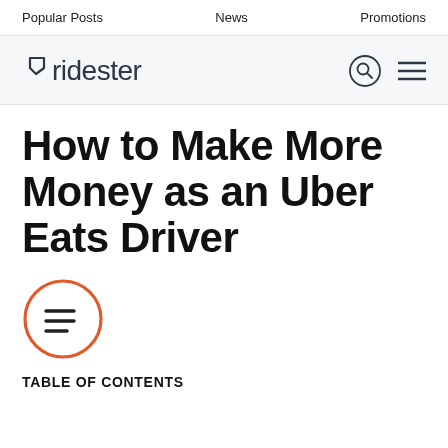Popular Posts   News   Promotions
[Figure (logo): Ridester logo with search icon and hamburger menu icon]
How to Make More Money as an Uber Eats Driver
[Figure (illustration): Orange circle with three horizontal lines (table of contents icon)]
TABLE OF CONTENTS